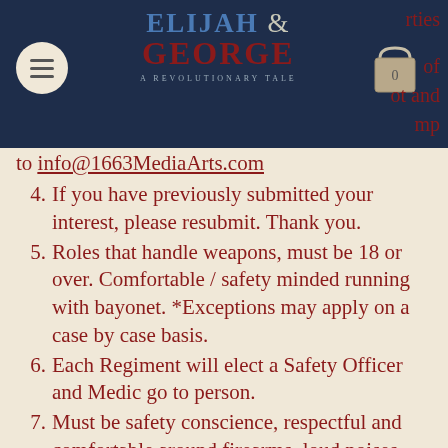[Figure (logo): Elijah & George: A Revolutionary Tale logo with navigation bar, hamburger menu icon, and shopping bag icon]
to info@1663MediaArts.com
4. If you have previously submitted your interest, please resubmit. Thank you.
5. Roles that handle weapons, must be 18 or over. Comfortable / safety minded running with bayonet. *Exceptions may apply on a case by case basis.
6. Each Regiment will elect a Safety Officer and Medic go to person.
7. Must be safety conscience, respectful and comfortable around firearms, loud noises, horses.